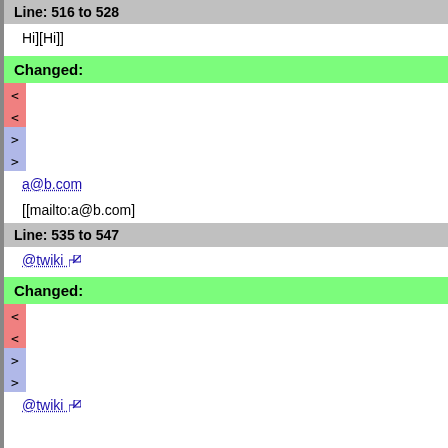Line: 516 to 528
Hi][Hi]]
Changed:
< < > >
a@b.com
[[mailto:a@b.com]
Line: 535 to 547
@twiki
Changed:
< < > >
@twiki